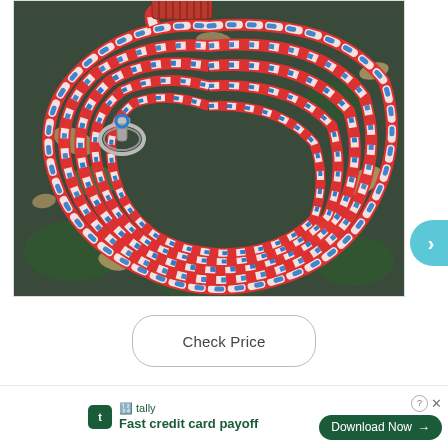[Figure (photo): A red, white, and blue braided rope dog leash coiled on a surface with leaves and grass visible. A silver snap clip is visible on the leash.]
Check Price
This le                              you
take y
[Figure (screenshot): Advertisement overlay banner: Tally app ad with green icon, text 'Fast credit card payoff', and a 'Download Now' button with arrow. Includes close (X) and help (?) icons.]